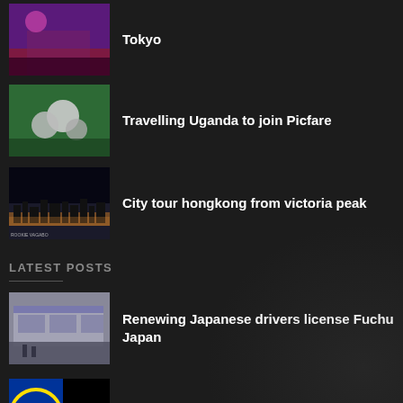Tokyo
Travelling Uganda to join Picfare
City tour hongkong from victoria peak
LATEST POSTS
Renewing Japanese drivers license Fuchu Japan
German national visa for work in